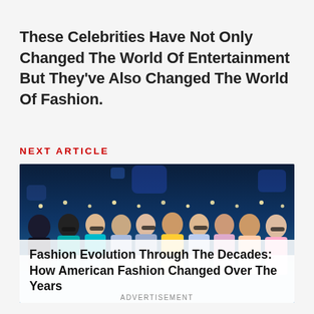These Celebrities Have Not Only Changed The World Of Entertainment But They've Also Changed The World Of Fashion.
Next Article
[Figure (photo): Fashion runway photo showing multiple models in colorful outfits walking on a runway with a blue tech-themed background]
Fashion Evolution Through The Decades: How American Fashion Changed Over The Years
ADVERTISEMENT